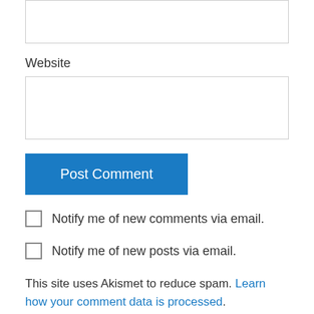[Figure (other): Empty input text area at top of page (partial, cropped)]
Website
[Figure (other): Empty website input text field]
Post Comment
Notify me of new comments via email.
Notify me of new posts via email.
This site uses Akismet to reduce spam. Learn how your comment data is processed.
Brian Bixby on December 4, 2016 at 12:10 am